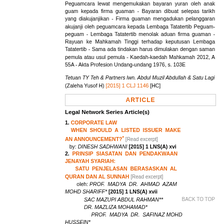Peguamcara lewat mengemukakan bayaran yuran oleh anak guam kepada firma guaman - Bayaran dibuat selepas tarikh yang diakujanjikan - Firma guaman mengadukan pelanggaran akujanji oleh peguamcara kepada Lembaga Tatatertib Peguam-peguam - Lembaga Tatatertib menolak aduan firma guaman - Rayuan ke Mahkamah Tinggi terhadap keputusan Lembaga Tatatertib - Sama ada tindakan harus dimulakan dengan saman pemula atau usul pemula - Kaedah-kaedah Mahkamah 2012, A 55A - Akta Profesion Undang-undang 1976, s. 103E
Tetuan TY Teh & Partners lwn. Abdul Muzil Abdullah & Satu Lagi (Zaleha Yusof H) [2015] 1 CLJ 1146 [HC]
ARTICLE
Legal Network Series Article(s)
1. CORPORATE LAW WHEN SHOULD A LISTED ISSUER MAKE AN ANNOUNCEMENT?* [Read excerpt] by: DINESH SADHWANI [2015] 1 LNS(A) xvi
2. PRINSIP SIASATAN DAN PENDAKWAAN JENAYAH SYARIAH: SATU PENJELASAN BERASASKAN AL QURAN DAN AL SUNNAH [Read excerpt] oleh: PROF. MADYA DR. AHMAD AZAM MOHD SHARIFF* [2015] 1 LNS(A) xvii SAC MAZUPI ABDUL RAHMAN** DR. MAZLIZA MOHAMAD* PROF. MADYA DR. SAFINAZ MOHD HUSSEIN* NOORFAJRI ISMAIL*